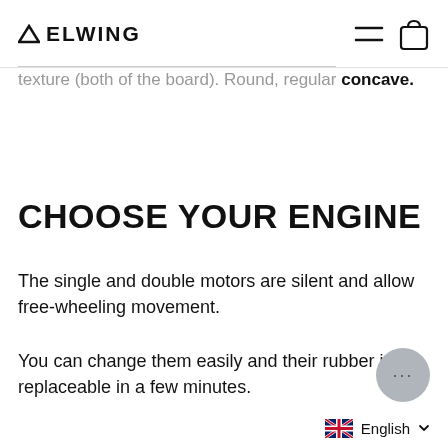ELWING
...texture (both of the board). Round, regular concave.
CHOOSE YOUR ENGINE
The single and double motors are silent and allow free-wheeling movement.
You can change them easily and their rubber is replaceable in a few minutes.
English